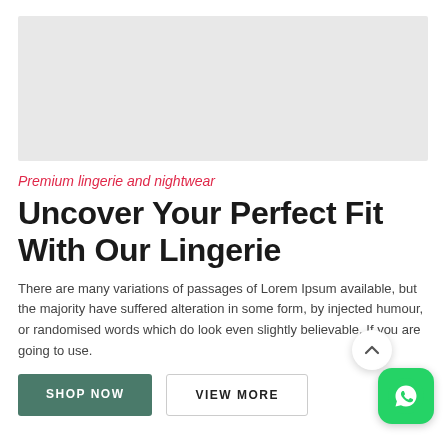[Figure (photo): Light gray placeholder image area for product photo]
Premium lingerie and nightwear
Uncover Your Perfect Fit With Our Lingerie
There are many variations of passages of Lorem Ipsum available, but the majority have suffered alteration in some form, by injected humour, or randomised words which do look even slightly believable. If you are going to use.
SHOP NOW
VIEW MORE